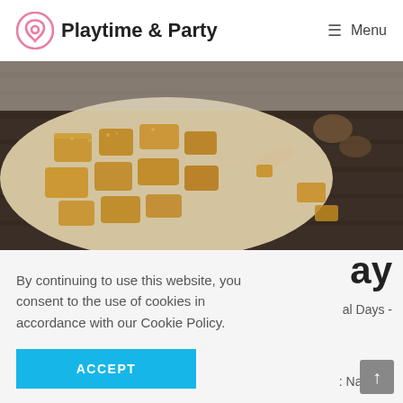Playtime & Party — Menu
[Figure (photo): Photo of caramel/fudge pieces on parchment paper on a dark wooden surface, with a wooden spoon holding a piece in the background]
day
al Days -
By continuing to use this website, you consent to the use of cookies in accordance with our Cookie Policy.
ACCEPT
National